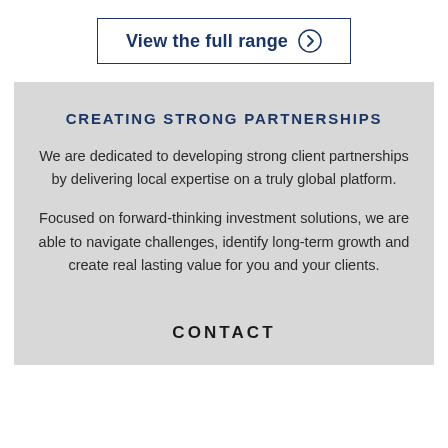[Figure (other): Button/link styled box with text 'View the full range' and a right-arrow circle icon, bordered in navy blue]
CREATING STRONG PARTNERSHIPS
We are dedicated to developing strong client partnerships by delivering local expertise on a truly global platform.
Focused on forward-thinking investment solutions, we are able to navigate challenges, identify long-term growth and create real lasting value for you and your clients.
CONTACT